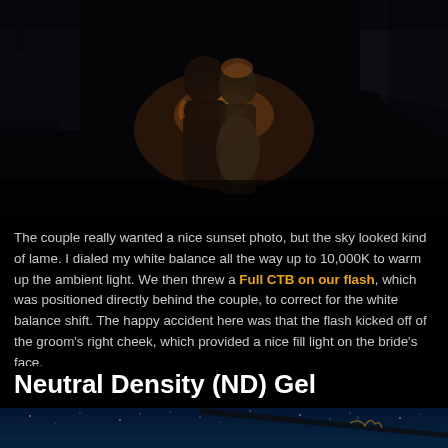[Figure (photo): Dark romantic wedding photo of a couple kissing/embracing at sunset/night, backlit with warm glow, trees in background]
The couple really wanted a nice sunset photo, but the sky looked kind of lame. I dialed my white balance all the way up to 10,000K to warm up the ambient light. We then threw a Full CTB on our flash, which was positioned directly behind the couple, to correct for the white balance shift. The happy accident here was that the flash kicked off of the groom's right cheek, which provided a nice fill light on the bride's face.
Neutral Density (ND) Gel
[Figure (photo): Night sky photo with stars and Milky Way visible, diagonal architectural element (roof/beam) in foreground with some kind of dried plant or decoration]